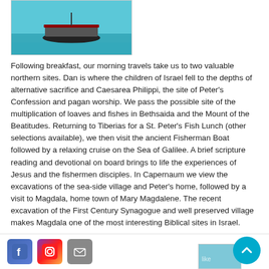[Figure (photo): A boat with passengers on the Sea of Galilee, turquoise water visible]
Following breakfast, our morning travels take us to two valuable northern sites. Dan is where the children of Israel fell to the depths of alternative sacrifice and Caesarea Philippi, the site of Peter’s Confession and pagan worship. We pass the possible site of the multiplication of loaves and fishes in Bethsaida and the Mount of the Beatitudes. Returning to Tiberias for a St. Peter’s Fish Lunch (other selections available), we then visit the ancient Fisherman Boat followed by a relaxing cruise on the Sea of Galilee. A brief scripture reading and devotional on board brings to life the experiences of Jesus and the fishermen disciples. In Capernaum we view the excavations of the sea-side village and Peter’s home, followed by a visit to Magdala, home town of Mary Magdalene. The recent excavation of the First Century Synagogue and well preserved village makes Magdala one of the most interesting Biblical sites in Israel.
Day 8: Jordan River Baptism Site, Beth Shean, & Dead Sea
Social media icons and scroll-to-top button